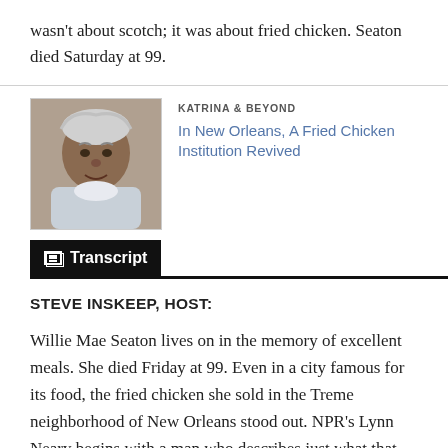wasn't about scotch; it was about fried chicken. Seaton died Saturday at 99.
[Figure (photo): Photo of Willie Mae Seaton, an elderly Black woman with gray hair, looking to the side.]
KATRINA & BEYOND
In New Orleans, A Fried Chicken Institution Revived
Transcript
STEVE INSKEEP, HOST:
Willie Mae Seaton lives on in the memory of excellent meals. She died Friday at 99. Even in a city famous for its food, the fried chicken she sold in the Treme neighborhood of New Orleans stood out. NPR's Lynn Neary begins with a man who describes just what that chicken tasted like.